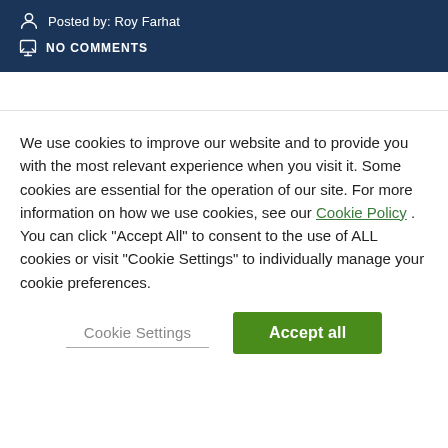Posted by: Roy Farhat
NO COMMENTS
We use cookies to improve our website and to provide you with the most relevant experience when you visit it. Some cookies are essential for the operation of our site. For more information on how we use cookies, see our Cookie Policy . You can click "Accept All" to consent to the use of ALL cookies or visit "Cookie Settings" to individually manage your cookie preferences.
Cookie Settings | Accept all